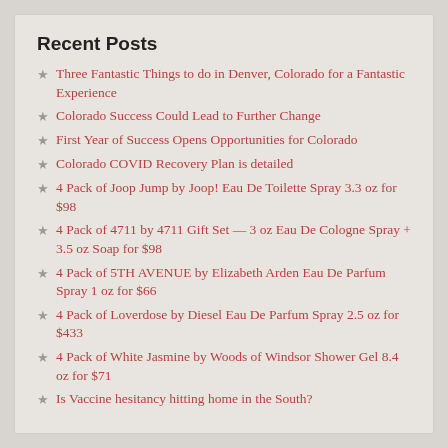Recent Posts
Three Fantastic Things to do in Denver, Colorado for a Fantastic Experience
Colorado Success Could Lead to Further Change
First Year of Success Opens Opportunities for Colorado
Colorado COVID Recovery Plan is detailed
4 Pack of Joop Jump by Joop! Eau De Toilette Spray 3.3 oz for $98
4 Pack of 4711 by 4711 Gift Set — 3 oz Eau De Cologne Spray + 3.5 oz Soap for $98
4 Pack of 5TH AVENUE by Elizabeth Arden Eau De Parfum Spray 1 oz for $66
4 Pack of Loverdose by Diesel Eau De Parfum Spray 2.5 oz for $433
4 Pack of White Jasmine by Woods of Windsor Shower Gel 8.4 oz for $71
Is Vaccine hesitancy hitting home in the South?